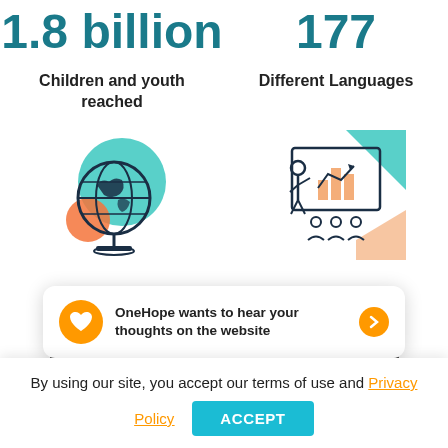1.8 billion
177
Children and youth reached
Different Languages
[Figure (illustration): Globe icon with teal circle background and orange circle accent]
[Figure (illustration): Presenter at board/chart with audience icon, teal arrow accent]
118
316
Active Countries
Active Programs
OneHope wants to hear your thoughts on the website
By using our site, you accept our terms of use and Privacy Policy
ACCEPT